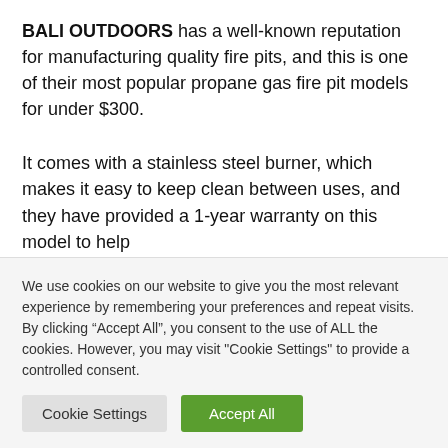BALI OUTDOORS has a well-known reputation for manufacturing quality fire pits, and this is one of their most popular propane gas fire pit models for under $300.
It comes with a stainless steel burner, which makes it easy to keep clean between uses, and they have provided a 1-year warranty on this model to help
We use cookies on our website to give you the most relevant experience by remembering your preferences and repeat visits. By clicking “Accept All”, you consent to the use of ALL the cookies. However, you may visit "Cookie Settings" to provide a controlled consent.